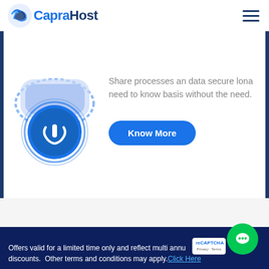CapraHost
[Figure (illustration): Blue circular lock/power icon illustration with concentric rings]
Share processes an data secure lona need to know basis without the need.
Know More
Offers valid for a limited time only and reflect multi annual discounts. Other terms and conditions may apply. Click Here